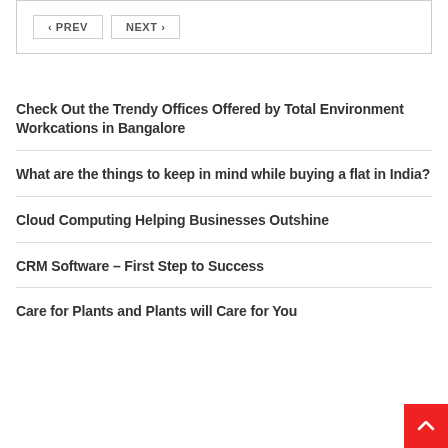PREV | NEXT navigation
Check Out the Trendy Offices Offered by Total Environment Workcations in Bangalore
What are the things to keep in mind while buying a flat in India?
Cloud Computing Helping Businesses Outshine
CRM Software – First Step to Success
Care for Plants and Plants will Care for You